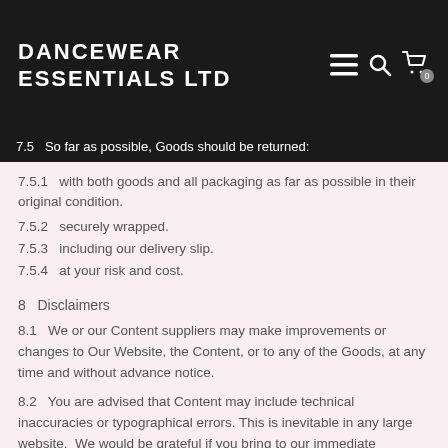DANCEWEAR ESSENTIALS LTD
7.5   So far as possible, Goods should be returned:
7.5.1   with both goods and all packaging as far as possible in their original condition.
7.5.2   securely wrapped.
7.5.3   including our delivery slip.
7.5.4   at your risk and cost.
8   Disclaimers
8.1   We or our Content suppliers may make improvements or changes to Our Website, the Content, or to any of the Goods, at any time and without advance notice.
8.2   You are advised that Content may include technical inaccuracies or typographical errors. This is inevitable in any large website.  We would be grateful if you bring to our immediate attention, any that you find.